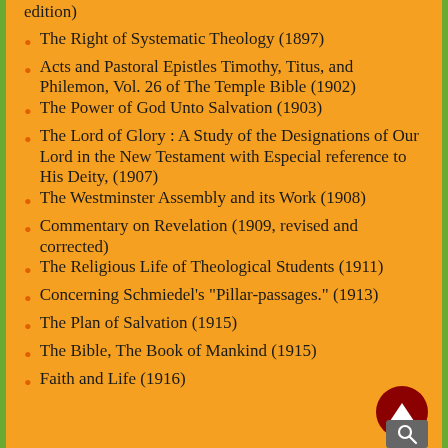edition)
The Right of Systematic Theology (1897)
Acts and Pastoral Epistles Timothy, Titus, and Philemon, Vol. 26 of The Temple Bible (1902)
The Power of God Unto Salvation (1903)
The Lord of Glory : A Study of the Designations of Our Lord in the New Testament with Especial reference to His Deity, (1907)
The Westminster Assembly and its Work (1908)
Commentary on Revelation (1909, revised and corrected)
The Religious Life of Theological Students (1911)
Concerning Schmiedel's "Pillar-passages." (1913)
The Plan of Salvation (1915)
The Bible, The Book of Mankind (1915)
Faith and Life (1916)